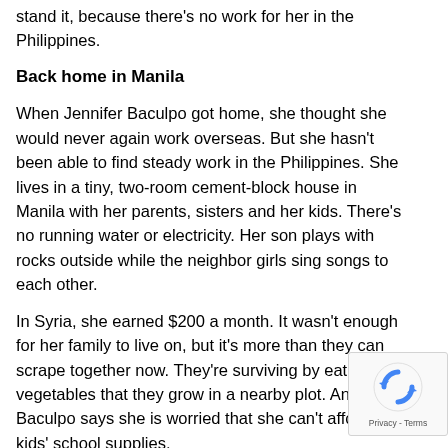stand it, because there's no work for her in the Philippines.
Back home in Manila
When Jennifer Baculpo got home, she thought she would never again work overseas. But she hasn't been able to find steady work in the Philippines. She lives in a tiny, two-room cement-block house in Manila with her parents, sisters and her kids. There's no running water or electricity. Her son plays with rocks outside while the neighbor girls sing songs to each other.
In Syria, she earned $200 a month. It wasn't enough for her family to live on, but it's more than they can scrape together now. They're surviving by eating vegetables that they grow in a nearby plot. And Baculpo says she is worried that she can't afford her kids' school supplies.
“If I don’t go overseas,” she says, “this is how